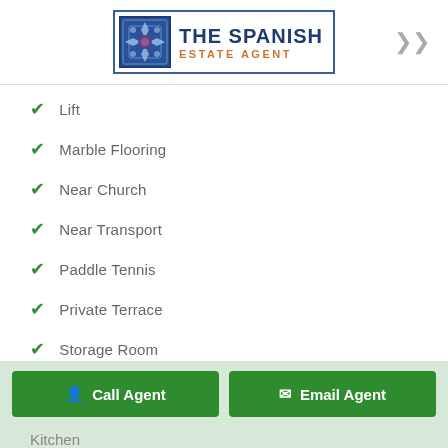[Figure (logo): The Spanish Estate Agent logo with tiled pattern and text]
Lift
Marble Flooring
Near Church
Near Transport
Paddle Tennis
Private Terrace
Storage Room
Utility Room
WiFi
Furniture
Call Agent
Email Agent
Kitchen